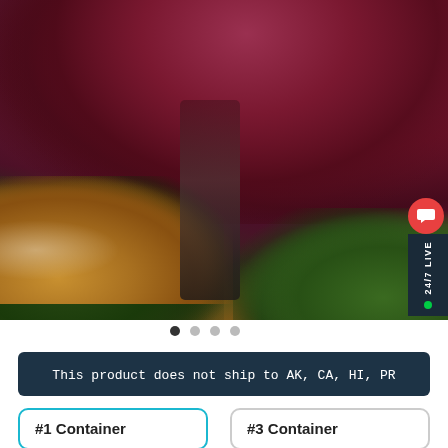[Figure (photo): Photograph of a Japanese maple tree with deep red/maroon dissected foliage cascading down, surrounded by green ornamental grasses, golden/orange heuchera plants, and green conifer shrubs in a garden landscape. A 24/7 Live chat button is visible on the right edge.]
● ○ ○ ○
This product does not ship to AK, CA, HI, PR
#1 Container
#3 Container